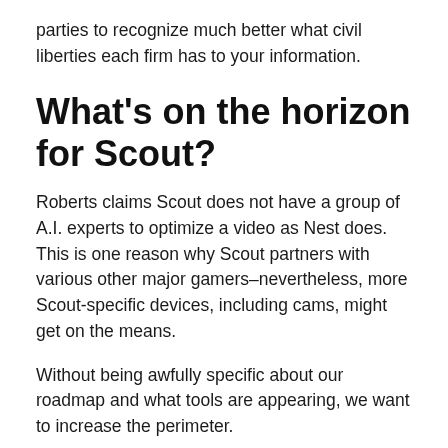parties to recognize much better what civil liberties each firm has to your information.
What's on the horizon for Scout?
Roberts claims Scout does not have a group of A.I. experts to optimize a video as Nest does. This is one reason why Scout partners with various other major gamers–nevertheless, more Scout-specific devices, including cams, might get on the means.
Without being awfully specific about our roadmap and what tools are appearing, we want to increase the perimeter.